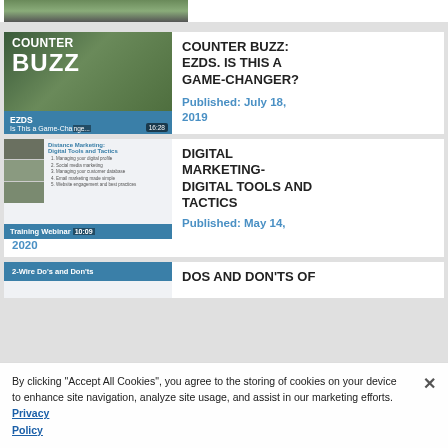[Figure (screenshot): Cropped top portion of a video thumbnail showing person]
[Figure (screenshot): Counter Buzz EZDS Is This a Game-Changer video thumbnail with teal bottom bar showing 16:28 duration]
COUNTER BUZZ: EZDS. IS THIS A GAME-CHANGER?
Published: July 18, 2019
[Figure (screenshot): Digital Marketing webinar thumbnail with avatars and slide content, Training Webinar bar showing 10:09 duration]
DIGITAL MARKETING- DIGITAL TOOLS AND TACTICS
Published: May 14, 2020
[Figure (screenshot): 2-Wire Do's and Don'ts thumbnail with teal header bar]
DOS AND DON'TS OF
By clicking “Accept All Cookies”, you agree to the storing of cookies on your device to enhance site navigation, analyze site usage, and assist in our marketing efforts.   Privacy Policy